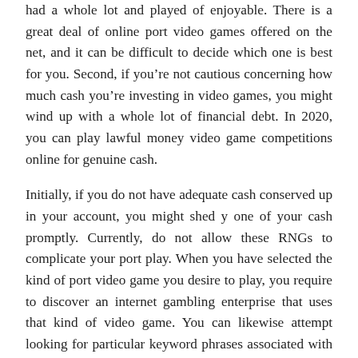had a whole lot and played of enjoyable. There is a great deal of online port video games offered on the net, and it can be difficult to decide which one is best for you. Second, if you’re not cautious concerning how much cash you’re investing in video games, you might wind up with a whole lot of financial debt. In 2020, you can play lawful money video game competitions online for genuine cash.
Initially, if you do not have adequate cash conserved up in your account, you might shed y one of your cash promptly. Currently, do not allow these RNGs to complicate your port play. When you have selected the kind of port video game you desire to play, you require to discover an internet gambling enterprise that uses that kind of video game. You can likewise attempt looking for particular keyword phrases associated with the kind of port video game you desire to play. The very first point you require to do is to identify what kind of port video game you intend to play. Which online